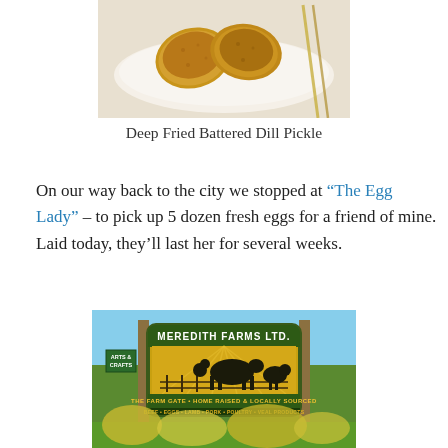[Figure (photo): Photo of deep fried battered dill pickles on a white plate, viewed from above]
Deep Fried Battered Dill Pickle
On our way back to the city we stopped at “The Egg Lady” – to pick up 5 dozen fresh eggs for a friend of mine. Laid today, they’ll last her for several weeks.
[Figure (photo): Outdoor sign for Meredith Farms Ltd. with silhouettes of farm animals including cow, chicken, and sheep. Text reads: THE FARM GATE • HOME RAISED & LOCALLY SOURCED BEEF • EGGS • LAMB • PORK • POULTRY • VEAL PRODUCTS. A smaller green sign reads ARTS & CRAFTS. Sign is mounted on wooden posts with greenery in foreground and background.]